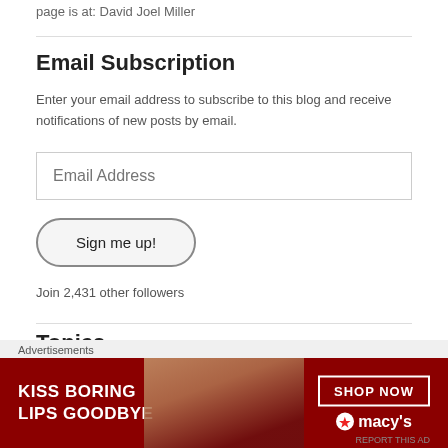page is at: David Joel Miller
Email Subscription
Enter your email address to subscribe to this blog and receive notifications of new posts by email.
Join 2,431 other followers
Topics
[Figure (other): Macy's advertisement banner: 'KISS BORING LIPS GOODBYE' with SHOP NOW button and Macy's star logo]